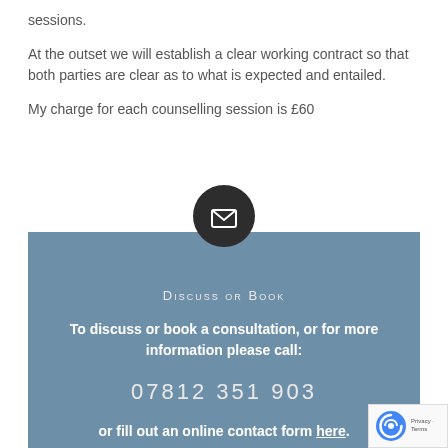sessions.
At the outset we will establish a clear working contract so that both parties are clear as to what is expected and entailed.
My charge for each counselling session is £60
[Figure (other): Dark circular icon with a house/envelope symbol, positioned above the blue contact box]
Discuss or Book
To discuss or book a consultation, or for more information please call:
07812 351 903
or fill out an online contact form here.